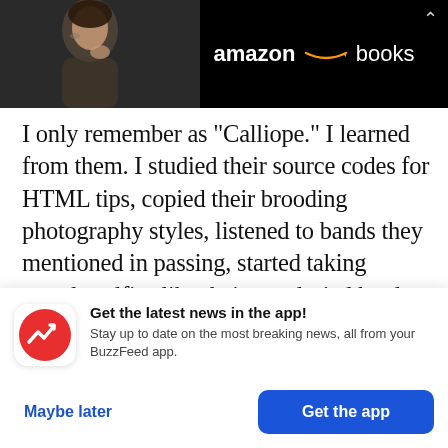[Figure (photo): Amazon Books advertisement banner with a woman's face on the left and 'amazon books' logo text on a dark background]
I only remember as “Calliope.” I learned from them. I studied their source codes for HTML tips, copied their brooding photography styles, listened to bands they mentioned in passing, started taking moody selfies like theirs, and tried hard to impress them with endless tweaks and new features on my website. To some extent, I lived my life with my website in mind—do it for the dot-com!—but this
[Figure (infographic): BuzzFeed app notification card with red circular icon with white arrow, title 'Get the latest news in the app!', subtitle 'Stay up to date on the most breaking news, all from your BuzzFeed app.', with 'Maybe later' and 'Get the app' buttons]